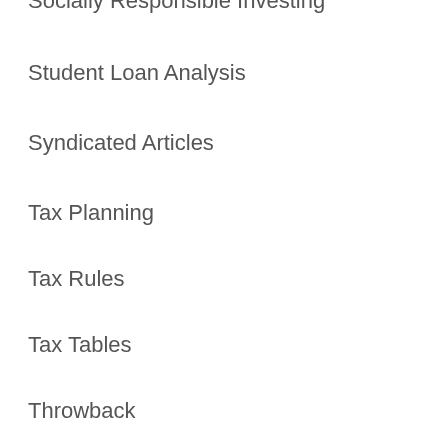Socially Responsible Investing
Student Loan Analysis
Syndicated Articles
Tax Planning
Tax Rules
Tax Tables
Throwback
Tools
Trusts, Foundations, and Endowments
Uncategorized
Under 35